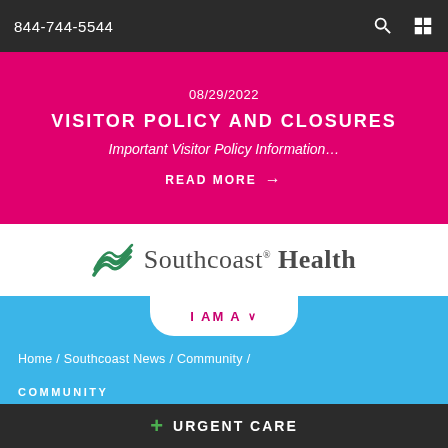844-744-5544
VISITOR POLICY AND CLOSURES
08/29/2022
Important Visitor Policy Information…
READ MORE →
[Figure (logo): Southcoast Health logo with wave icon]
I AM A ∨
Home / Southcoast News / Community /
COMMUNITY
Southcoast VNA is new
+ URGENT CARE